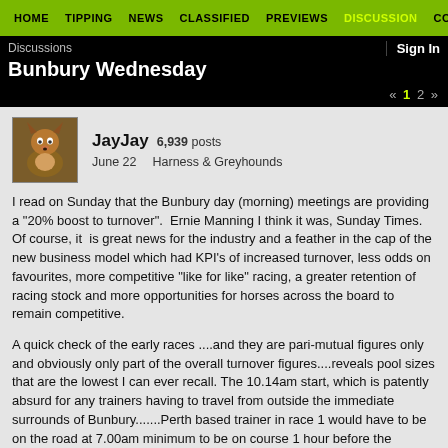HOME  TIPPING  NEWS  CLASSIFIED  PREVIEWS  DISCUSSION  CONTACT
Bunbury Wednesday
Discussions   Sign In
« 1 2 »
JayJay  6,939 posts
June 22    Harness & Greyhounds
I read on Sunday that the Bunbury day (morning) meetings are providing a "20% boost to turnover".  Ernie Manning I think it was, Sunday Times. Of course, it  is great news for the industry and a feather in the cap of the new business model which had KPI's of increased turnover, less odds on favourites, more competitive "like for like" racing, a greater retention of racing stock and more opportunities for horses across the board to remain competitive.

A quick check of the early races ....and they are pari-mutual figures only and obviously only part of the overall turnover figures....reveals pool sizes that are the lowest I can ever recall. The 10.14am start, which is patently absurd for any trainers having to travel from outside the immediate surrounds of Bunbury.......Perth based trainer in race 1 would have to be on the road at 7.00am minimum to be on course 1 hour before the first....appears to be too early for most punters. Those win